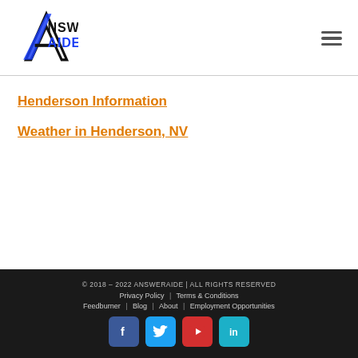[Figure (logo): AnswerAide logo with stylized A in black and blue, text ANSWER AIDE]
Henderson Information
Weather in Henderson, NV
© 2018 – 2022 ANSWERAIDE | ALL RIGHTS RESERVED
Privacy Policy | Terms & Conditions
Feedburner | Blog | About | Employment Opportunities
[Social icons: Facebook, Twitter, YouTube, LinkedIn]